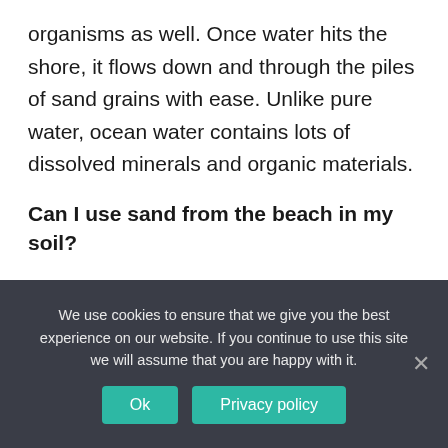organisms as well. Once water hits the shore, it flows down and through the piles of sand grains with ease. Unlike pure water, ocean water contains lots of dissolved minerals and organic materials.
Can I use sand from the beach in my soil?
Unfortunately pure beach sand is not good as soil for plants because it has the following characteristics: It has difficulties retaining water and nutrients. Too much salt content (can be
We use cookies to ensure that we give you the best experience on our website. If you continue to use this site we will assume that you are happy with it.